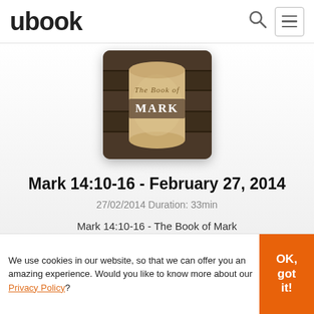ubook
[Figure (illustration): Book cover for 'The Book of Mark' — scroll/parchment on dark wood background with text 'The Book of Mark' and 'MARK' in a brown label]
Mark 14:10-16 - February 27, 2014
27/02/2014 Duration: 33min
Mark 14:10-16 - The Book of Mark
We use cookies in our website, so that we can offer you an amazing experience. Would you like to know more about our Privacy Policy?